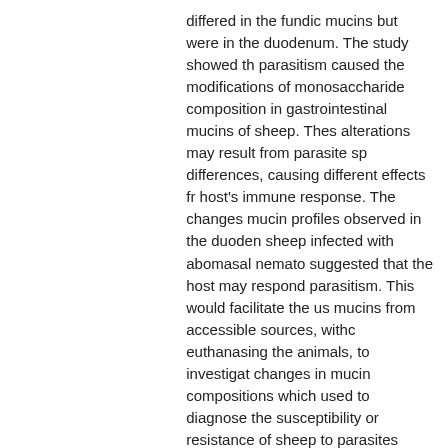| Field | Value |
| --- | --- |
|  | differed in the fundic mucins but were in the duodenum. The study showed that parasitism caused the modifications of monosaccharide composition in gastrointestinal mucins of sheep. These alterations may result from parasite sp differences, causing different effects from host's immune response. The changes in mucin profiles observed in the duodenum sheep infected with abomasal nematodes suggested that the host may respond to parasitism. This would facilitate the use of mucins from accessible sources, without euthanasing the animals, to investigate changes in mucin compositions which could be used to diagnose the susceptibility or resistance of sheep to parasites |
| dc.language.iso | en |
| dc.publisher | Massey University |
| dc.rights | The Author |